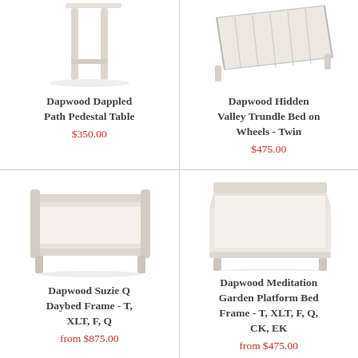[Figure (photo): Dapwood Dappled Path Pedestal Table - white wooden table legs visible from below]
Dapwood Dappled Path Pedestal Table
$350.00
[Figure (photo): Dapwood Hidden Valley Trundle Bed on Wheels - Twin - white bed frame with slats viewed from angle]
Dapwood Hidden Valley Trundle Bed on Wheels - Twin
$475.00
[Figure (photo): Dapwood Suzie Q Daybed Frame - white wooden daybed frame]
Dapwood Suzie Q Daybed Frame - T, XLT, F, Q
from $875.00
[Figure (photo): Dapwood Meditation Garden Platform Bed Frame - white platform bed frame]
Dapwood Meditation Garden Platform Bed Frame - T, XLT, F, Q, CK, EK
from $475.00